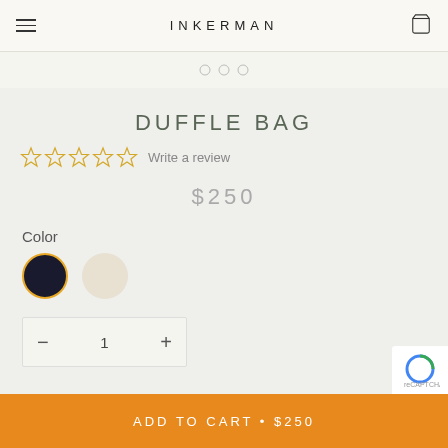INKERMAN
[Figure (screenshot): Carousel navigation dots — three small circles]
DUFFLE BAG
☆☆☆☆☆  Write a review
$250
Color
[Figure (illustration): Two color swatches: dark navy (selected, gold border) and cream/beige]
[Figure (illustration): Quantity selector showing minus, 1, plus controls]
ADD TO CART • $250